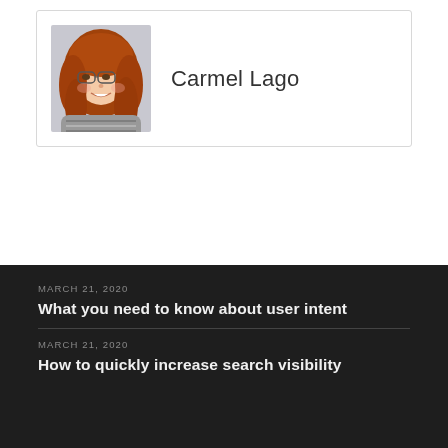[Figure (photo): Profile photo of a young woman with long red/auburn hair and glasses, smiling, wearing a striped top.]
Carmel Lago
MARCH 21, 2020
What you need to know about user intent
MARCH 21, 2020
How to quickly increase search visibility